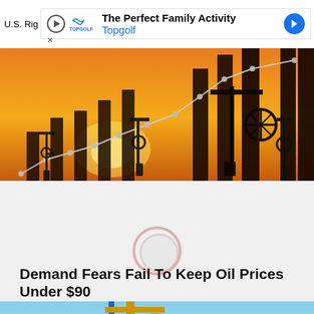U.S. Rig...
[Figure (infographic): Oil pump jacks silhouetted against orange sunset sky with bar chart bars and rising line graph overlay]
[Figure (photo): Oil pump jack against blue sky]
Demand Fears Fail To Keep Oil Prices Under $90
[Figure (photo): Oil pump jack close-up against blue sky]